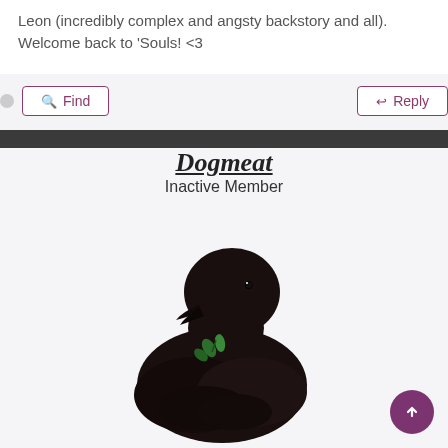Leon (incredibly complex and angsty backstory and all). Welcome back to 'Souls! <3
Find  Reply
Dogmeat
Inactive Member
[Figure (illustration): A black raven or crow illustration, sitting and holding a small green sprig or plant in its beak, depicted in a round, chunky art style against a light background.]